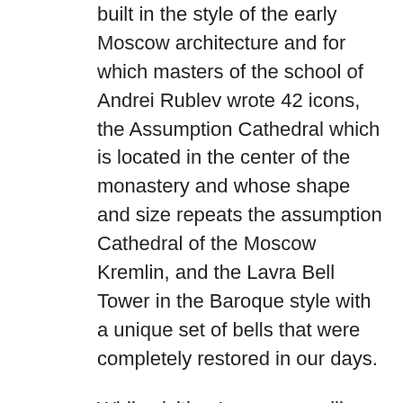built in the style of the early Moscow architecture and for which masters of the school of Andrei Rublev wrote 42 icons, the Assumption Cathedral which is located in the center of the monastery and whose shape and size repeats the assumption Cathedral of the Moscow Kremlin, and the Lavra Bell Tower in the Baroque style with a unique set of bells that were completely restored in our days.
While visiting Lavra, you will hear a story about how a small monastery hidden in the dense Radonezh forest turned into the Trinity-Sergius Monastery and became the largest center of Orthodoxy, known throughout the world. You will visit the operating temples in which you will hear hymns of the famous choir of the Trinity-Sergius Lavra. Outside the monastery gate, you will be met by merchants that offer all sorts of traditional souvenirs: handicrafts, carved wooden toys and of course the famous matryoshkas since Sergiev Posad was the birthplace